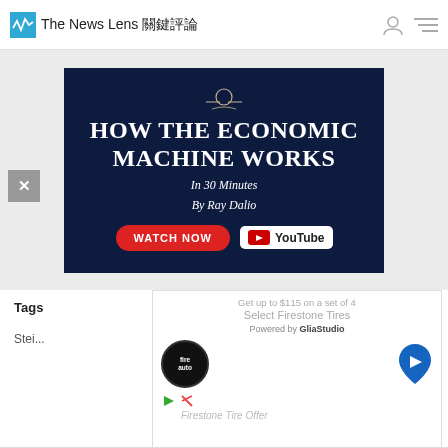The News Lens 關鍵評論
[Figure (screenshot): YouTube ad for 'How the Economic Machine Works In 30 Minutes By Ray Dalio' on dark navy background with Watch Now button]
[Figure (screenshot): GliaStudio ad overlay showing Firestone Tires offer with logo and map pin]
Tags
Stei...
Firestone Tire Offer